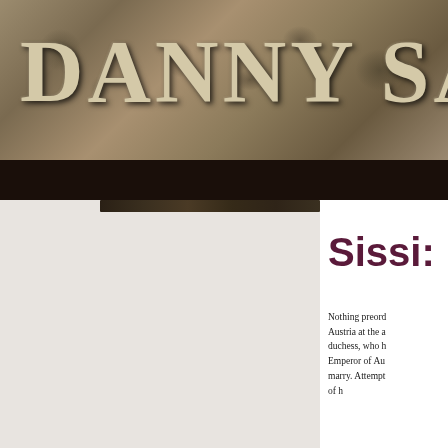[Figure (photo): Header banner with stone relief sculpture background and large text reading DANNY SAUN (truncated). Dark brown bar below the image portion.]
[Figure (photo): Left gray panel with a dark thumbnail strip near the top, appearing to show a cropped book cover or image detail.]
Sissi:
Nothing preord Austria at the a duchess, who h Emperor of Au marry. Attempt of h...